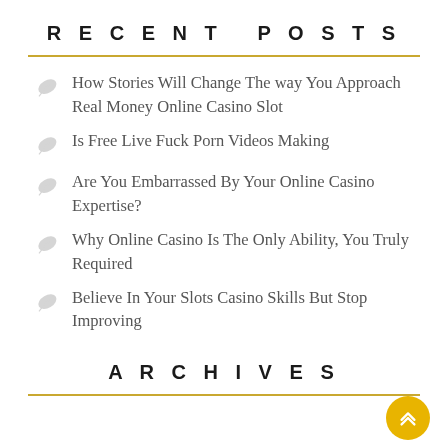RECENT POSTS
How Stories Will Change The way You Approach Real Money Online Casino Slot
Is Free Live Fuck Porn Videos Making
Are You Embarrassed By Your Online Casino Expertise?
Why Online Casino Is The Only Ability, You Truly Required
Believe In Your Slots Casino Skills But Stop Improving
ARCHIVES